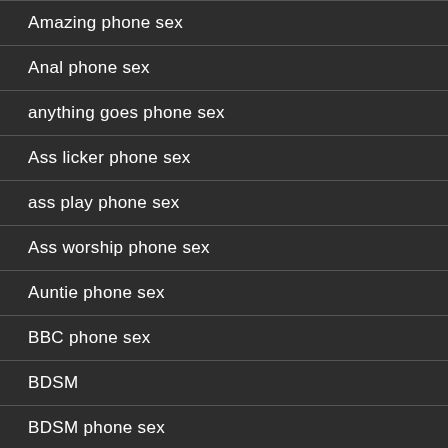Amazing phone sex
Anal phone sex
anything goes phone sex
Ass licker phone sex
ass play phone sex
Ass worship phone sex
Auntie phone sex
BBC phone sex
BDSM
BDSM phone sex
BDSM role play